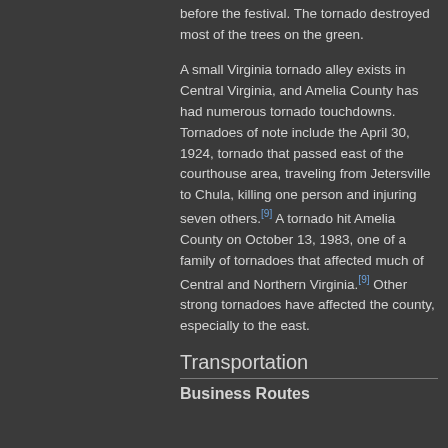F1 tornado on Friday, May 8, the day before the festival. The tornado destroyed most of the trees on the green.
A small Virginia tornado alley exists in Central Virginia, and Amelia County has had numerous tornado touchdowns. Tornadoes of note include the April 30, 1924, tornado that passed east of the courthouse area, traveling from Jetersville to Chula, killing one person and injuring seven others.[9] A tornado hit Amelia County on October 13, 1983, one of a family of tornadoes that affected much of Central and Northern Virginia.[9] Other strong tornadoes have affected the county, especially to the east.
Transportation
Business Routes